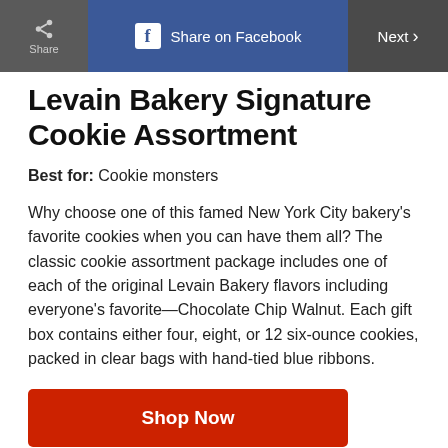Share | Share on Facebook | Next
Levain Bakery Signature Cookie Assortment
Best for: Cookie monsters
Why choose one of this famed New York City bakery's favorite cookies when you can have them all? The classic cookie assortment package includes one of each of the original Levain Bakery flavors including everyone's favorite—Chocolate Chip Walnut. Each gift box contains either four, eight, or 12 six-ounce cookies, packed in clear bags with hand-tied blue ribbons.
Shop Now